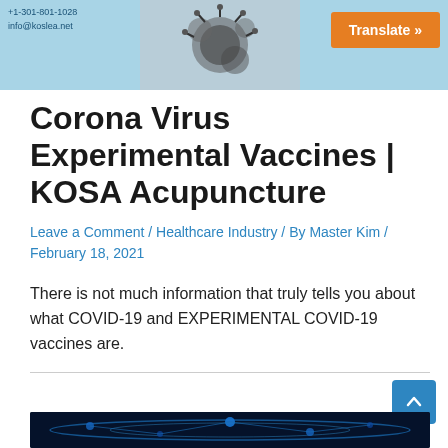[Figure (photo): Website header banner with blue background showing coronavirus microscopy image, contact information (+1-301-801-1028, info@koslea.net), and an orange Translate button]
Corona Virus Experimental Vaccines | KOSA Acupuncture
Leave a Comment / Healthcare Industry / By Master Kim / February 18, 2021
There is not much information that truly tells you about what COVID-19 and EXPERIMENTAL COVID-19 vaccines are.
[Figure (photo): Bottom image showing dark blue microscopy or scientific visualization related to coronavirus/DNA]